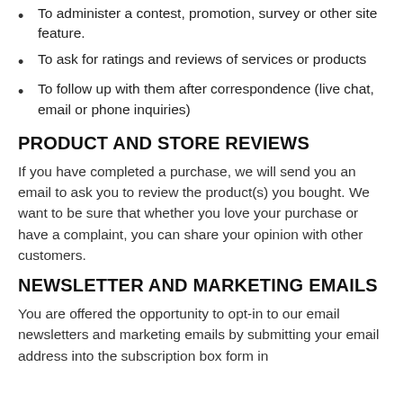To administer a contest, promotion, survey or other site feature.
To ask for ratings and reviews of services or products
To follow up with them after correspondence (live chat, email or phone inquiries)
PRODUCT AND STORE REVIEWS
If you have completed a purchase, we will send you an email to ask you to review the product(s) you bought. We want to be sure that whether you love your purchase or have a complaint, you can share your opinion with other customers.
NEWSLETTER AND MARKETING EMAILS
You are offered the opportunity to opt-in to our email newsletters and marketing emails by submitting your email address into the subscription box form in